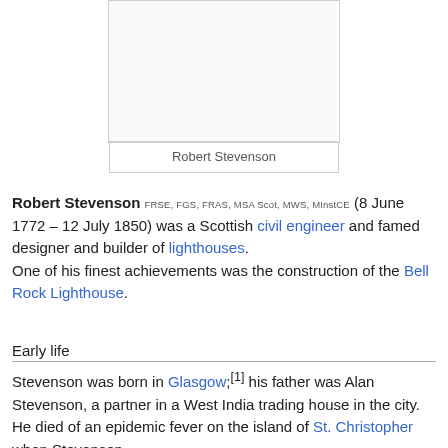[Figure (photo): Portrait photo of Robert Stevenson in an infobox]
Robert Stevenson
Robert Stevenson FRSE, FGS, FRAS, MSA Scot, MWS, MInstCE (8 June 1772 – 12 July 1850) was a Scottish civil engineer and famed designer and builder of lighthouses. One of his finest achievements was the construction of the Bell Rock Lighthouse.
Early life
Stevenson was born in Glasgow;[1] his father was Alan Stevenson, a partner in a West India trading house in the city. He died of an epidemic fever on the island of St. Christopher when Stevenson